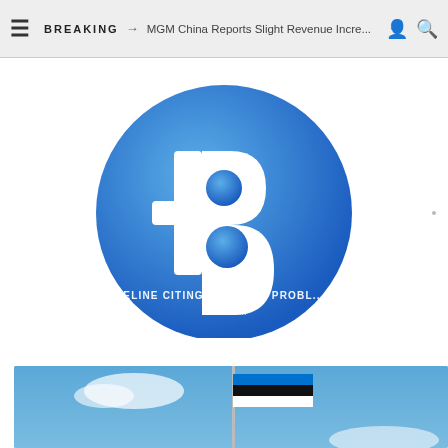BREAKING → MGM China Reports Slight Revenue Incre...
[Figure (logo): Bytecoin (BCN) cryptocurrency logo — blue gradient circle with white B letter and horizontal dash symbol]
ELINE CITING NETWORK PROBL...
[Figure (photo): Estonian flag flying on a flagpole against a blue sky with a cloud]